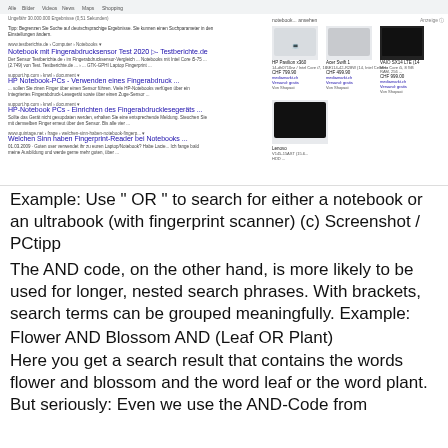[Figure (screenshot): Google search results screenshot showing German search results for notebook fingerprint scanner queries, with product listing ads on the right side showing notebook computers (HP Pavilion, Acer Swift, VAIO, Lenovo) with prices in CHF.]
Example: Use " OR " to search for either a notebook or an ultrabook (with fingerprint scanner) (c) Screenshot / PCtipp
The AND code, on the other hand, is more likely to be used for longer, nested search phrases. With brackets, search terms can be grouped meaningfully. Example:
Flower AND Blossom AND (Leaf OR Plant)
Here you get a search result that contains the words flower and blossom and the word leaf or the word plant. But seriously: Even we use the AND-Code from